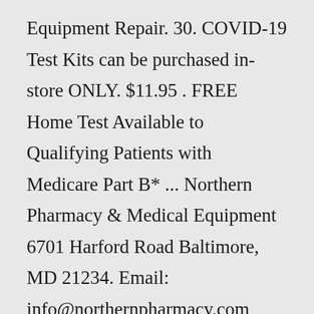Equipment Repair. 30. COVID-19 Test Kits can be purchased in-store ONLY. $11.95 . FREE Home Test Available to Qualifying Patients with Medicare Part B* ... Northern Pharmacy & Medical Equipment 6701 Harford Road Baltimore, MD 21234. Email: info@northernpharmacy.com Pharmacy: 410-254-2055 Medical Equipment: 410-254-2056 ...We offer special discounts on our products and will special order if the